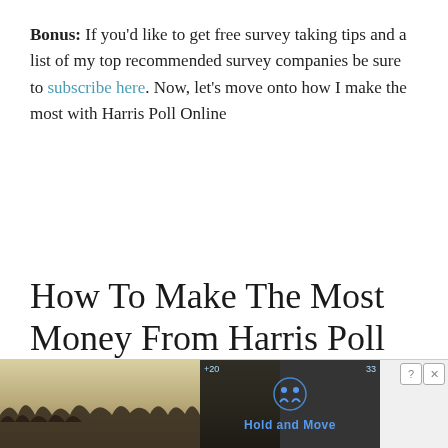Bonus: If you'd like to get free survey taking tips and a list of my top recommended survey companies be sure to subscribe here. Now, let's move onto how I make the most with Harris Poll Online
How To Make The Most Money From Harris Poll Online – In Depth Review
[Figure (photo): Advertisement banner at the bottom of the page showing a dark overlay with 'Hold and Move' text and icon over a photo of trees/outdoor scene. Includes close (X) and help (?) buttons.]